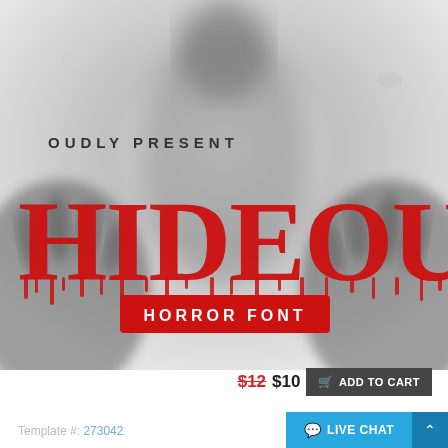[Figure (illustration): Horror font product preview image showing blurred shadowy figure with hands pressed against frosted glass, red dripping horror-style text reading 'HIDEOUS' with subtitle 'HORROR FONT' on red banner, and smaller text 'OUDLY PRESENT' above]
$12 $10  ADD TO CART
LIVE CHAT
Template #: 273042